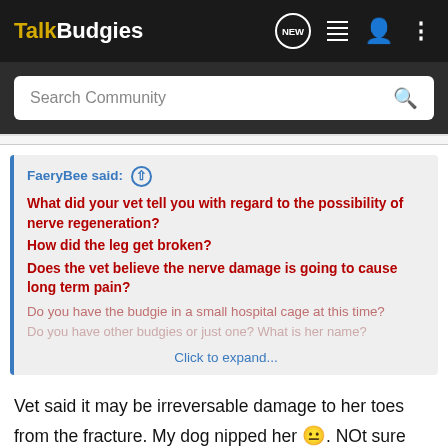TalkBudgies
Search Community
FaeryBee said: ⊕
What did your vet tell you with regard to the possibility of nerve regeneration?
How did the leg get broken?
Does the vet believe the nerve damage is going to cause long term pain?
Do you have the budgie in a small hospital cage at this time?
Do you have other budgies or just one? What is her name?
Click to expand...
Vet said it may be irreversable damage to her toes from the fracture. My dog nipped her 😐. NOt sure about the pain, the toes didn't respond to pinching but the foot did. Yes budgie is in a glass aquarium with screen top. She is my only one.